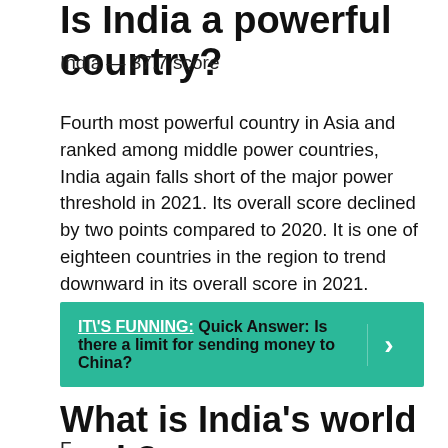Is India a powerful country?
India — 37.7 score
Fourth most powerful country in Asia and ranked among middle power countries, India again falls short of the major power threshold in 2021. Its overall score declined by two points compared to 2020. It is one of eighteen countries in the region to trend downward in its overall score in 2021.
IT\'S FUNNING: Quick Answer: Is there a limit for sending money to China?
What is India's world rank?